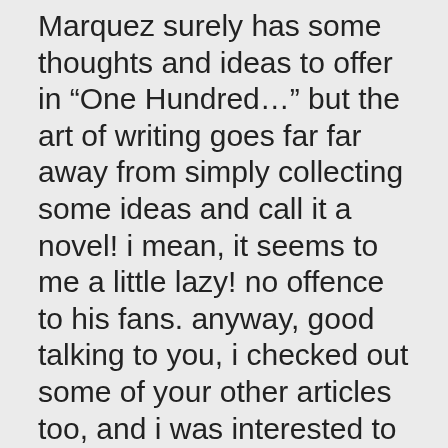Marquez surely has some thoughts and ideas to offer in “One Hundred…” but the art of writing goes far far away from simply collecting some ideas and call it a novel! i mean, it seems to me a little lazy! no offence to his fans. anyway, good talking to you, i checked out some of your other articles too, and i was interested to get to know your writings more(since i myself have interests in writing) but i live in Iran, therefore there is no access to amazon or any other international payments system. it’s crazy!